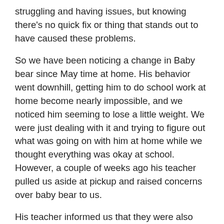struggling and having issues, but knowing there's no quick fix or thing that stands out to have caused these problems.
So we have been noticing a change in Baby bear since May time at home. His behavior went downhill, getting him to do school work at home become nearly impossible, and we noticed him seeming to lose a little weight. We were just dealing with it and trying to figure out what was going on with him at home while we thought everything was okay at school. However, a couple of weeks ago his teacher pulled us aside at pickup and raised concerns over baby bear to us.
His teacher informed us that they were also having issues and concerns with Baby Bear's concentration, listening, weight and they thought his sight. It hurt hearing that he was being hard work at school and struggling but it broke me when his teacher asked if everything is okay at home because Baby bear seems to have lost a sparkle. We had a chat about what her advice was moving forward and I explained what we were experiencing